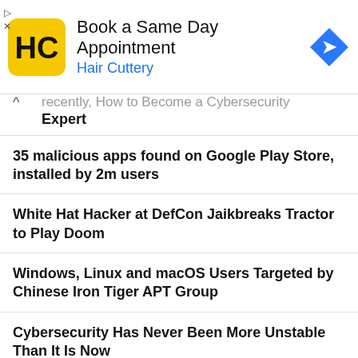[Figure (other): Advertisement banner for Hair Cuttery with logo, text 'Book a Same Day Appointment', 'Hair Cuttery', and a blue navigation arrow icon]
...recently, How to Become a Cybersecurity Expert
35 malicious apps found on Google Play Store, installed by 2m users
White Hat Hacker at DefCon Jaikbreaks Tractor to Play Doom
Windows, Linux and macOS Users Targeted by Chinese Iron Tiger APT Group
Cybersecurity Has Never Been More Unstable Than It Is Now